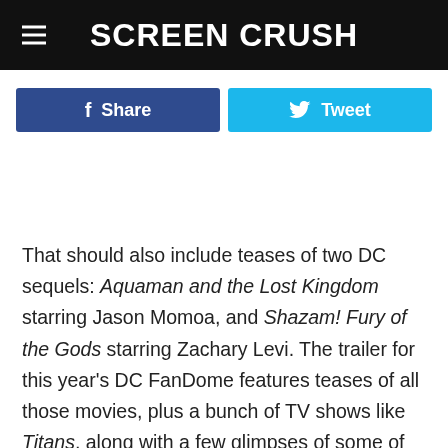Screen Crush
[Figure (other): Facebook Share button and Twitter Tweet button social sharing bar]
That should also include teases of two DC sequels: Aquaman and the Lost Kingdom starring Jason Momoa, and Shazam! Fury of the Gods starring Zachary Levi. The trailer for this year's DC FanDome features teases of all those movies, plus a bunch of TV shows like Titans, along with a few glimpses of some of the actual comic books that all of these massive franchises spring from. (Remember comics? They're still good!) Watch it below: